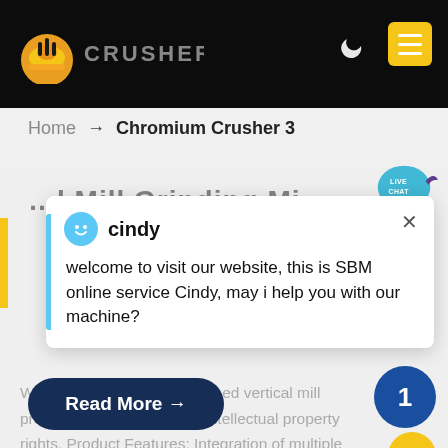[Figure (screenshot): Website header with dark background showing industrial crusher machinery photo, SBM logo on left, yellow hamburger menu button on right, moon icon for dark mode]
Home → Chromium Crusher 3
[Figure (illustration): Live Chat speech bubble icon in teal/cyan color with 'LIVE CHAT' text and a bird/chat mascot]
[Figure (screenshot): Live chat popup with cindy avatar and message: welcome to visit our website, this is SBM online service Cindy, may i help you with our machine?]
We have successively launched vertical mill products with independent intellectual property rights. Product Features: Integration of multiple functions, more stable and reliable production and more excellent capacity
Read More →